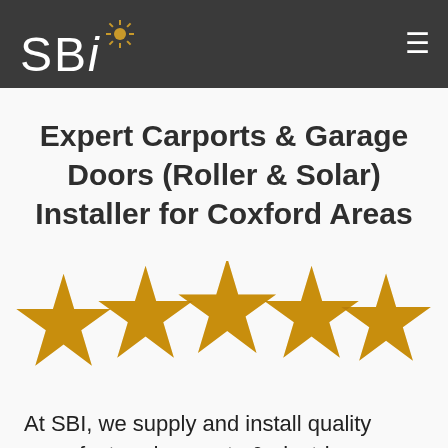SBI
Expert Carports & Garage Doors (Roller & Solar) Installer for Coxford Areas
[Figure (illustration): Five gold/yellow 3D star rating icons arranged in a row]
At SBI, we supply and install quality manufactured carports & electric or